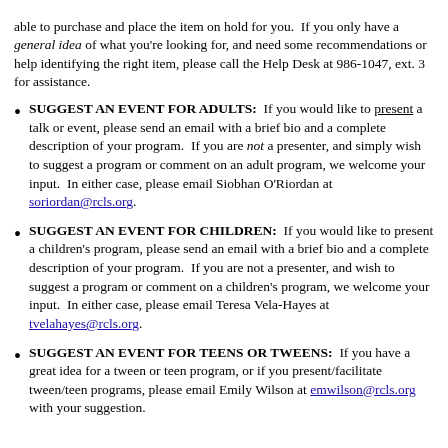able to purchase and place the item on hold for you.  If you only have a general idea of what you're looking for, and need some recommendations or help identifying the right item, please call the Help Desk at 986-1047, ext. 3 for assistance.
SUGGEST AN EVENT FOR ADULTS:  If you would like to present a talk or event, please send an email with a brief bio and a complete description of your program.  If you are not a presenter, and simply wish to suggest a program or comment on an adult program, we welcome your input.  In either case, please email Siobhan O'Riordan at soriordan@rcls.org.
SUGGEST AN EVENT FOR CHILDREN:  If you would like to present a children's program, please send an email with a brief bio and a complete description of your program.  If you are not a presenter, and wish to suggest a program or comment on a children's program, we welcome your input.  In either case, please email Teresa Vela-Hayes at tvelahayes@rcls.org.
SUGGEST AN EVENT FOR TEENS OR TWEENS:  If you have a great idea for a tween or teen program, or if you present/facilitate tween/teen programs, please email Emily Wilson at emwilson@rcls.org with your suggestion.